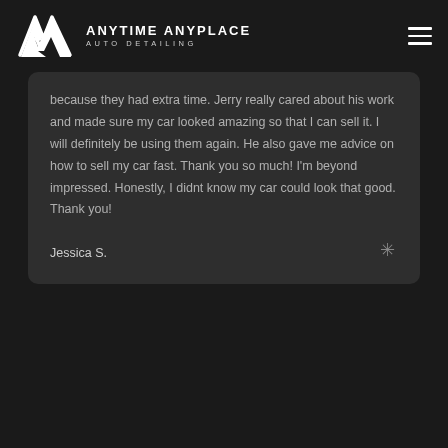ANYTIME ANYPLACE AUTO DETAILING
because they had extra time. Jerry really cared about his work and made sure my car looked amazing so that I can sell it. I will definitely be using them again. He also gave me advice on how to sell my car fast. Thank you so much! I'm beyond impressed. Honestly, I didnt know my car could look that good. Thank you!
Jessica S.